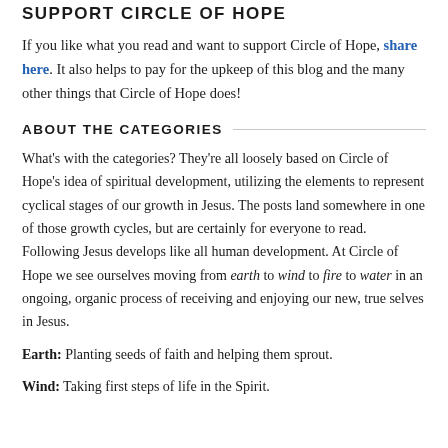SUPPORT CIRCLE OF HOPE
If you like what you read and want to support Circle of Hope, share here. It also helps to pay for the upkeep of this blog and the many other things that Circle of Hope does!
ABOUT THE CATEGORIES
What's with the categories? They're all loosely based on Circle of Hope's idea of spiritual development, utilizing the elements to represent cyclical stages of our growth in Jesus. The posts land somewhere in one of those growth cycles, but are certainly for everyone to read. Following Jesus develops like all human development. At Circle of Hope we see ourselves moving from earth to wind to fire to water in an ongoing, organic process of receiving and enjoying our new, true selves in Jesus.
Earth: Planting seeds of faith and helping them sprout.
Wind: Taking first steps of life in the Spirit.